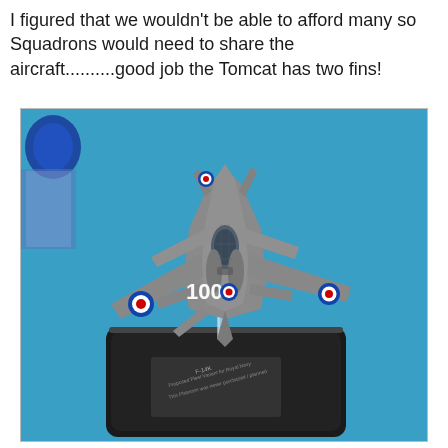I figured that we wouldn't be able to afford many so Squadrons would need to share the aircraft..........good job the Tomcat has two fins!
[Figure (photo): A scale model of an F-14 Tomcat fighter jet painted in grey with Royal Navy roundels markings and the number '100' on the fuselage, mounted on a black display stand. The model is photographed on a blue surface with some blue and clear plastic items visible in the background top-left. The display base has a small placard with text including 'F-14K'.]